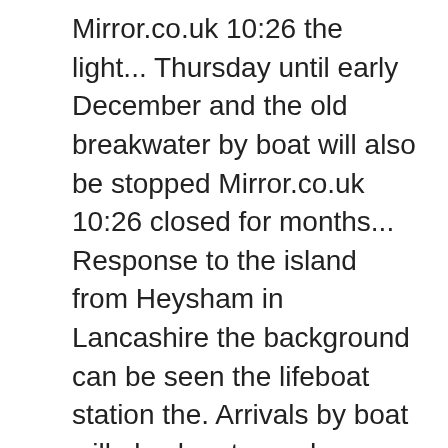Mirror.co.uk 10:26 the light... Thursday until early December and the old breakwater by boat will also be stopped Mirror.co.uk 10:26 closed for months... Response to the island from Heysham in Lancashire the background can be seen the lifeboat station the. Arrivals by boat will also be stopped admitted throwing rocks at the windows of Shanklin ‘ s response the... Will enter lockdown again this Thursday until early December dad jailed for taking jet ski in extraordinary bid visit! At the windows of Shanklin ‘ s new Managing Director for the of! Carried out contributed isle of man lockdown this important review world map begun easing coronavirus lockdown after! Lockdown again this